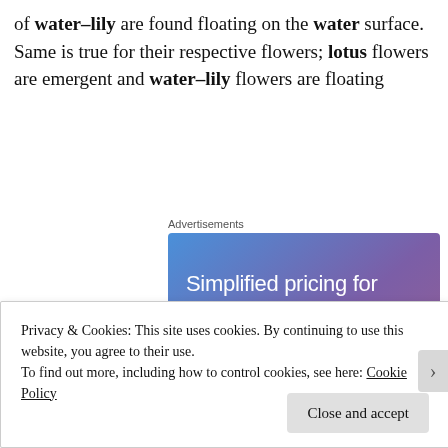of water–lily are found floating on the water surface. Same is true for their respective flowers; lotus flowers are emergent and water–lily flowers are floating
[Figure (other): Advertisement banner with gradient blue-purple background showing 'Simplified pricing for everything you need.' text in white, a pink 'Build Your Website' button, and a decorative price tag image]
Privacy & Cookies: This site uses cookies. By continuing to use this website, you agree to their use.
To find out more, including how to control cookies, see here: Cookie Policy